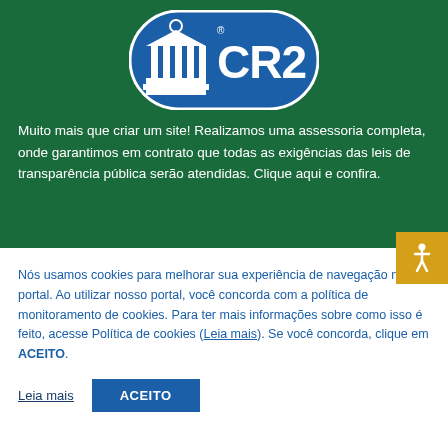[Figure (logo): CR2 logo — blue oval with white classical building/columns icon and 'CR2' text in large white letters on blue background]
Muito mais que criar um site! Realizamos uma assessoria completa, onde garantimos em contrato que todas as exigências das leis de transparência pública serão atendidas. Clique aqui e confira.
Nós usamos cookies para melhorar sua experiência de navegação no portal. Ao utilizar nosso portal, você concorda com a política de monitoramento de cookies. Para ter mais informações sobre como isso é feito, acesse Política de cookies (Leia mais). Se você concorda, clique em ACEITO.
Leia mais   ACEITO